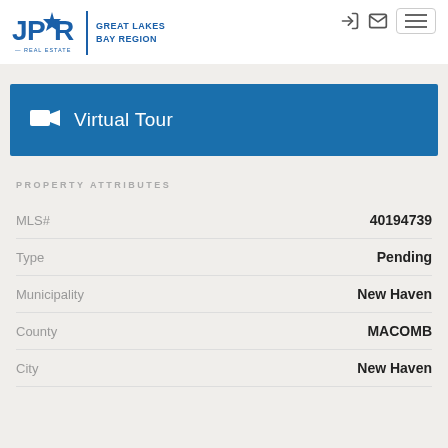[Figure (logo): JPR Real Estate Great Lakes Bay Region logo]
Virtual Tour
PROPERTY ATTRIBUTES
| Attribute | Value |
| --- | --- |
| MLS# | 40194739 |
| Type | Pending |
| Municipality | New Haven |
| County | MACOMB |
| City | New Haven |